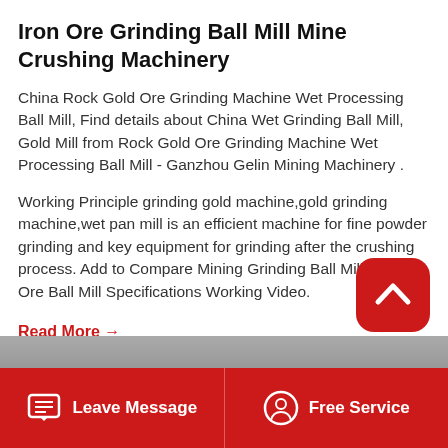Iron Ore Grinding Ball Mill Mine Crushing Machinery
China Rock Gold Ore Grinding Machine Wet Processing Ball Mill, Find details about China Wet Grinding Ball Mill, Gold Mill from Rock Gold Ore Grinding Machine Wet Processing Ball Mill - Ganzhou Gelin Mining Machinery .
Working Principle grinding gold machine,gold grinding machine,wet pan mill is an efficient machine for fine powder grinding and key equipment for grinding after the crushing process. Add to Compare Mining Grinding Ball Mill Gold Ore Ball Mill Specifications Working Video.
Read More →
[Figure (screenshot): Partial image strip at bottom of content area, showing thumbnails of mining machinery]
Leave Message   Free Service